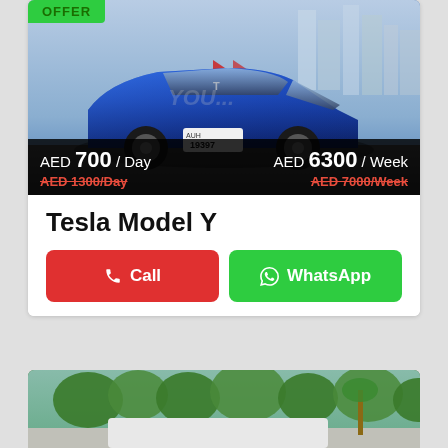[Figure (photo): Blue Tesla Model Y car parked in an urban Dubai setting with city skyline in background, license plate 19397]
OFFER
AED 700 / Day
AED 1300/Day (strikethrough)
AED 6300 / Week
AED 7000/Week (strikethrough)
Tesla Model Y
Call
WhatsApp
[Figure (photo): Partial view of another car listing with green trees in background]